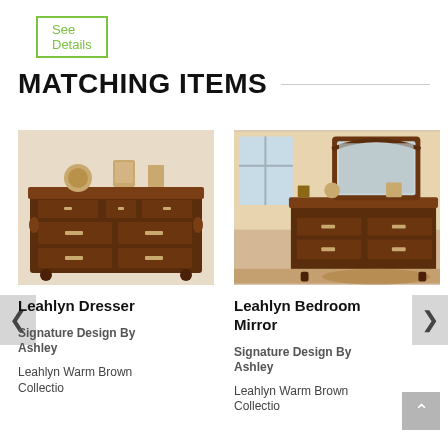See Details
MATCHING ITEMS
[Figure (photo): Photo of Leahlyn Dresser — dark brown wood dresser with multiple drawers and carved details, decorative items on top]
Leahlyn Dresser
Signature Design By Ashley
Leahlyn Warm Brown Collection
[Figure (photo): Photo of Leahlyn Bedroom Mirror — ornate dark wood mirror atop a matching dresser with carved details, shown in a room setting]
Leahlyn Bedroom Mirror
Signature Design By Ashley
Leahlyn Warm Brown Collection